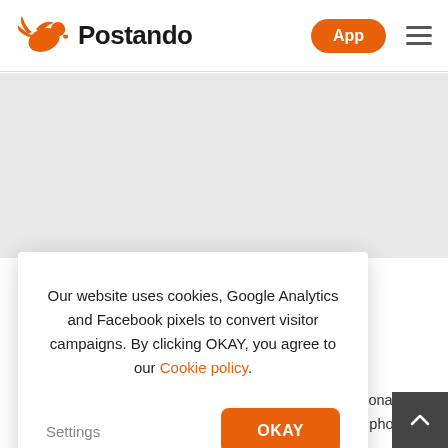Postando — App
Our website uses cookies, Google Analytics and Facebook pixels to convert visitor campaigns. By clicking OKAY, you agree to our Cookie policy.
Settings
OKAY
your persona
New-Years card with your own photos. No need